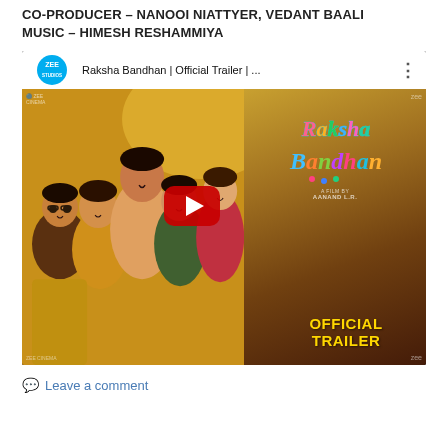CO-PRODUCER – NANOOI NIATTYER, VEDANT BAALI MUSIC – HIMESH RESHAMMIYA
[Figure (screenshot): YouTube video thumbnail for 'Raksha Bandhan | Official Trailer | ...' from Zee Studios channel, showing a group of people smiling and hugging, with colorful movie title text 'Raksha Bandhan' and 'OFFICIAL TRAILER' in gold text on the right side. A red YouTube play button is centered on the thumbnail.]
Leave a comment